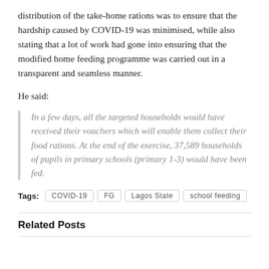distribution of the take-home rations was to ensure that the hardship caused by COVID-19 was minimised, while also stating that a lot of work had gone into ensuring that the modified home feeding programme was carried out in a transparent and seamless manner.
He said:
In a few days, all the targeted households would have received their vouchers which will enable them collect their food rations. At the end of the exercise, 37,589 households of pupils in primary schools (primary 1-3) would have been fed.
Tags: COVID-19  FG  Lagos State  school feeding
Related Posts